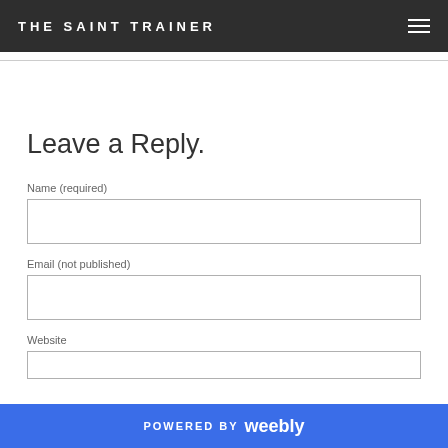THE SAINT TRAINER
Leave a Reply.
Name (required)
Email (not published)
Website
POWERED BY weebly